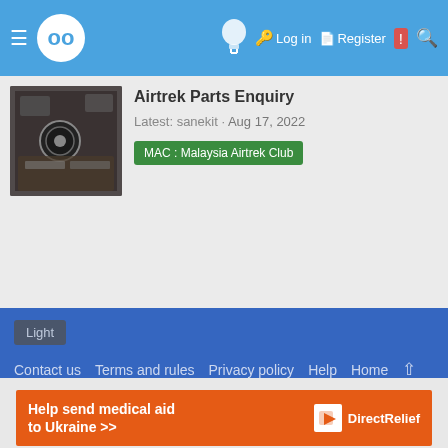≡ [logo] [bulb icon] Log in  Register [bell] [search]
Airtrek Parts Enquiry
Latest: sanekit · Aug 17, 2022
MAC : Malaysia Airtrek Club
Light  Contact us  Terms and rules  Privacy policy  Help  Home  ↑  [RSS icon]
Help send medical aid to Ukraine >>  DirectRelief